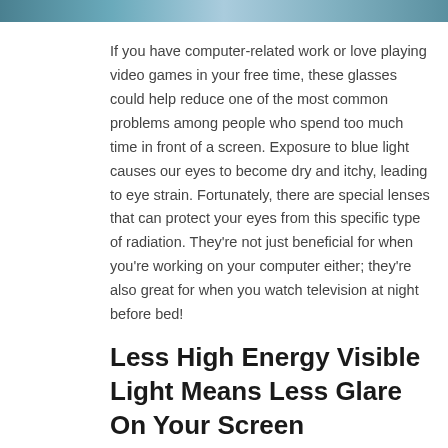[Figure (photo): Partial image strip at the top of the page showing people or eyeglasses, cropped]
If you have computer-related work or love playing video games in your free time, these glasses could help reduce one of the most common problems among people who spend too much time in front of a screen. Exposure to blue light causes our eyes to become dry and itchy, leading to eye strain. Fortunately, there are special lenses that can protect your eyes from this specific type of radiation. They're not just beneficial for when you're working on your computer either; they're also great for when you watch television at night before bed!
Less High Energy Visible Light Means Less Glare On Your Screen